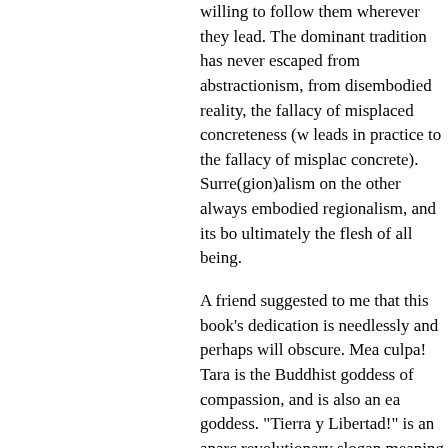willing to follow them wherever they lead. The dominant tradition has never escaped from abstractionism, from disembodied reality, from the fallacy of misplaced concreteness (which leads in practice to the fallacy of misplaced concrete). Surre(gion)alism on the other hand is always embodied regionalism, and its body is ultimately the flesh of all being.
A friend suggested to me that this book's dedication is needlessly and perhaps willfully obscure. Mea culpa! Tara is the Buddhist goddess of compassion, and is also an earth goddess. "Tierra y Libertad!" is an anarcho-revolutionary slogan meaning "Land-or Earth-and Liberty!"
[1] THE COMPLETE WORKS OF CHUANG TZU [ZHUANGZI], trans. Burton Watson (New York: Columbia University Press, p. 97.
Chapter 1.- The Surre(gion)alist Manifesto